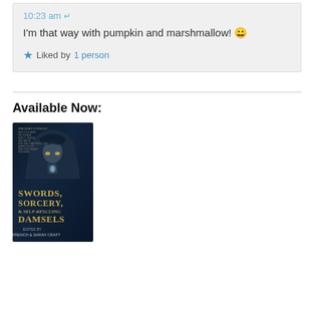10:23 am
I'm that way with pumpkin and marshmallow! 😀
Liked by 1 person
Available Now:
[Figure (illustration): Book cover for 'Swords, Sorcery, & Self-Rescuing Damsels' edited by Lee French & Sarah Craft. Dark fantasy cover with a hooded female figure against dark blue background, title text in gold.]